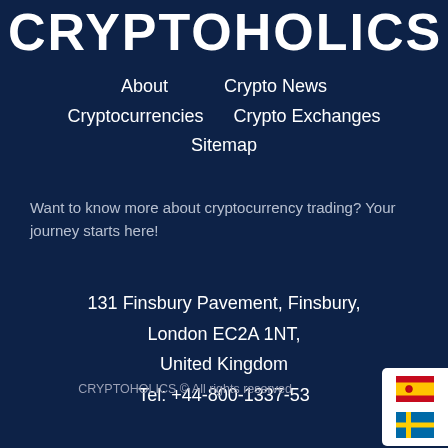CRYPTOHOLICS
About
Crypto News
Cryptocurrencies
Crypto Exchanges
Sitemap
Want to know more about cryptocurrency trading? Your journey starts here!
131 Finsbury Pavement, Finsbury,
London EC2A 1NT,
United Kingdom
Tel: +44-800-1337-53
CRYPTOHOLICS © All rights reserved
[Figure (illustration): Language selector widget showing Spanish flag and Swedish flag on white rounded background in bottom-right corner]